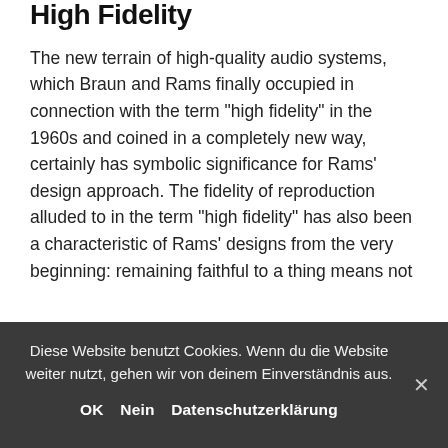High Fidelity
The new terrain of high-quality audio systems, which Braun and Rams finally occupied in connection with the term “high fidelity” in the 1960s and coined in a completely new way, certainly has symbolic significance for Rams’ design approach. The fidelity of reproduction alluded to in the term “high fidelity” has also been a characteristic of Rams’ designs from the very beginning: remaining faithful to a thing means not over-shaping it with elements that are alien and external to its essence. In this respect, Rams has always remained a Platonist who has tried to get as close as possible to the idea of a thing.
The new terrain of high-quality audio systems, which Braun and Rams finally occupied in connection with the term “high
Diese Website benutzt Cookies. Wenn du die Website weiter nutzt, gehen wir von deinem Einverständnis aus.
OK  Nein  Datenschutzerklärung